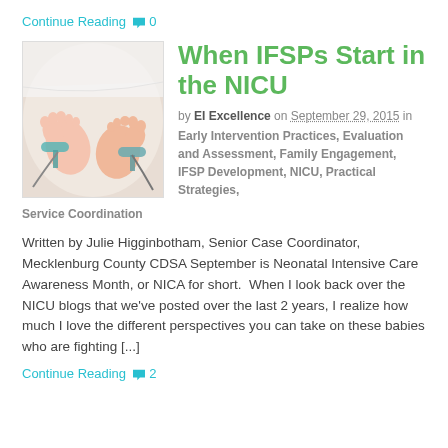Continue Reading 💬 0
[Figure (photo): Close-up photo of premature baby feet with medical monitoring equipment attached]
When IFSPs Start in the NICU
by EI Excellence on September 29, 2015 in Early Intervention Practices, Evaluation and Assessment, Family Engagement, IFSP Development, NICU, Practical Strategies, Service Coordination
Written by Julie Higginbotham, Senior Case Coordinator, Mecklenburg County CDSA September is Neonatal Intensive Care Awareness Month, or NICA for short.  When I look back over the NICU blogs that we've posted over the last 2 years, I realize how much I love the different perspectives you can take on these babies who are fighting [...]
Continue Reading 💬 2